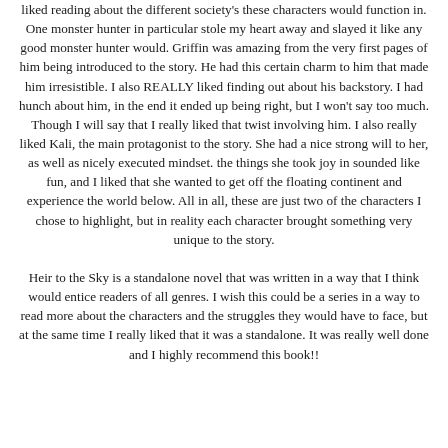liked reading about the different society's these characters would function in. One monster hunter in particular stole my heart away and slayed it like any good monster hunter would. Griffin was amazing from the very first pages of him being introduced to the story. He had this certain charm to him that made him irresistible. I also REALLY liked finding out about his backstory. I had hunch about him, in the end it ended up being right, but I won't say too much. Though I will say that I really liked that twist involving him. I also really liked Kali, the main protagonist to the story. She had a nice strong will to her, as well as nicely executed mindset. the things she took joy in sounded like fun, and I liked that she wanted to get off the floating continent and experience the world below. All in all, these are just two of the characters I chose to highlight, but in reality each character brought something very unique to the story.
Heir to the Sky is a standalone novel that was written in a way that I think would entice readers of all genres. I wish this could be a series in a way to read more about the characters and the struggles they would have to face, but at the same time I really liked that it was a standalone. It was really well done and I highly recommend this book!!